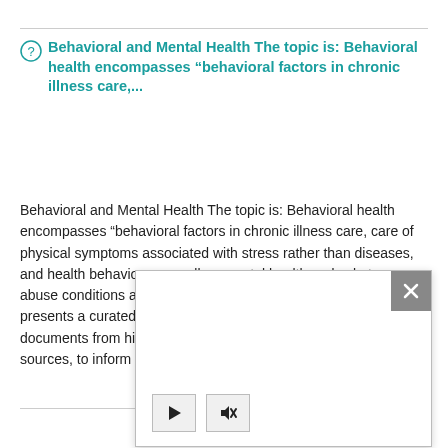Behavioral and Mental Health The topic is: Behavioral health encompasses “behavioral factors in chronic illness care,...
Behavioral and Mental Health The topic is: Behavioral health encompasses “behavioral factors in chronic illness care, care of physical symptoms associated with stress rather than diseases, and health behaviors, as well as mental health and substance abuse conditions and diagnoses.” (AHRQ 2013) This resource presents a curated collection of websites, data sources and documents from high quality government and not-for-profit sources, to inform policymakers financing, qu distribution,...
[Figure (screenshot): A popup/modal overlay with a close button (X) in the top-right corner and two control buttons (play triangle and a muted speaker/arrow icon) at the bottom-left.]